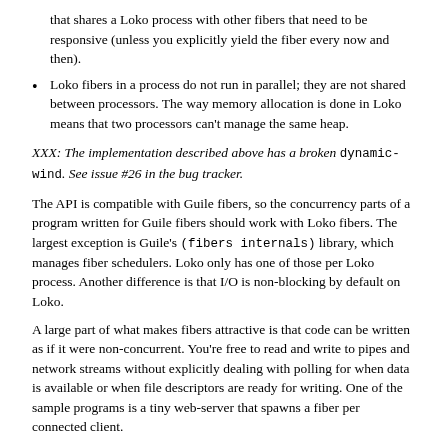that shares a Loko process with other fibers that need to be responsive (unless you explicitly yield the fiber every now and then).
Loko fibers in a process do not run in parallel; they are not shared between processors. The way memory allocation is done in Loko means that two processors can't manage the same heap.
XXX: The implementation described above has a broken dynamic-wind. See issue #26 in the bug tracker.
The API is compatible with Guile fibers, so the concurrency parts of a program written for Guile fibers should work with Loko fibers. The largest exception is Guile's (fibers internals) library, which manages fiber schedulers. Loko only has one of those per Loko process. Another difference is that I/O is non-blocking by default on Loko.
A large part of what makes fibers attractive is that code can be written as if it were non-concurrent. You're free to read and write to pipes and network streams without explicitly dealing with polling for when data is available or when file descriptors are ready for writing. One of the sample programs is a tiny web-server that spawns a fiber per connected client.
Loko...